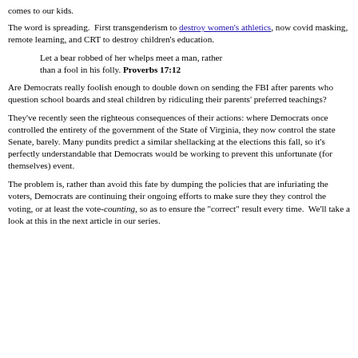comes to our kids.
The word is spreading.  First transgenderism to destroy women's athletics, now covid masking, remote learning, and CRT to destroy children's education.
Let a bear robbed of her whelps meet a man, rather than a fool in his folly. Proverbs 17:12
Are Democrats really foolish enough to double down on sending the FBI after parents who question school boards and steal children by ridiculing their parents' preferred teachings?
They've recently seen the righteous consequences of their actions: where Democrats once controlled the entirety of the government of the State of Virginia, they now control the state Senate, barely. Many pundits predict a similar shellacking at the elections this fall, so it's perfectly understandable that Democrats would be working to prevent this unfortunate (for themselves) event.
The problem is, rather than avoid this fate by dumping the policies that are infuriating the voters, Democrats are continuing their ongoing efforts to make sure they they control the voting, or at least the vote-counting, so as to ensure the "correct" result every time.  We'll take a look at this in the next article in our series.